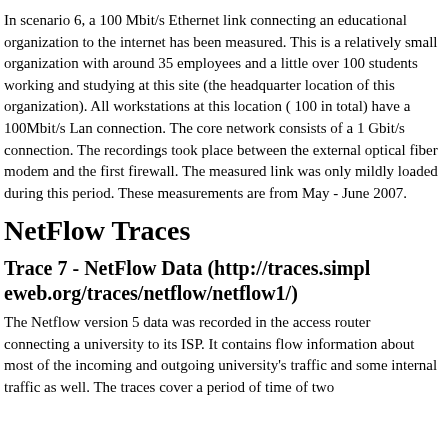In scenario 6, a 100 Mbit/s Ethernet link connecting an educational organization to the internet has been measured. This is a relatively small organization with around 35 employees and a little over 100 students working and studying at this site (the headquarter location of this organization). All workstations at this location ( 100 in total) have a 100Mbit/s Lan connection. The core network consists of a 1 Gbit/s connection. The recordings took place between the external optical fiber modem and the first firewall. The measured link was only mildly loaded during this period. These measurements are from May - June 2007.
NetFlow Traces
Trace 7 - NetFlow Data (http://traces.simpleweb.org/traces/netflow/netflow1/)
The Netflow version 5 data was recorded in the access router connecting a university to its ISP. It contains flow information about most of the incoming and outgoing university's traffic and some internal traffic as well. The traces cover a period of time of two